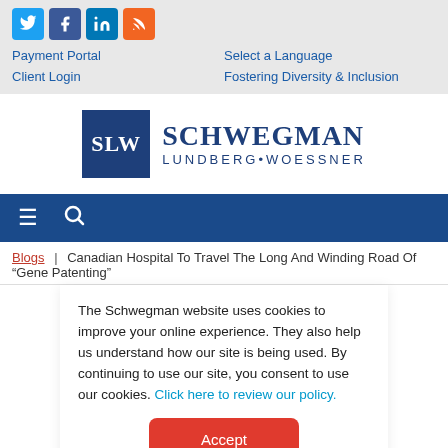Social icons: Twitter, Facebook, LinkedIn, RSS
Payment Portal | Select a Language | Client Login | Fostering Diversity & Inclusion
[Figure (logo): Schwegman Lundberg Woessner logo with SLW blue square and firm name]
Hamburger menu and search icon navigation bar
Blogs | Canadian Hospital To Travel The Long And Winding Road Of “Gene Patenting”
The Schwegman website uses cookies to improve your online experience. They also help us understand how our site is being used. By continuing to use our site, you consent to use our cookies. Click here to review our policy.
Accept